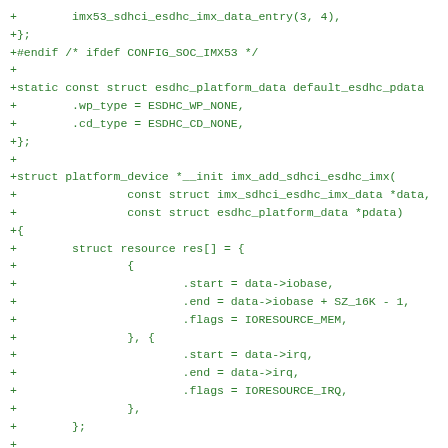+		imx53_sdhci_esdhc_imx_data_entry(3, 4),
+};
+#endif /* ifdef CONFIG_SOC_IMX53 */
+
+static const struct esdhc_platform_data default_esdhc_pdata
+		.wp_type = ESDHC_WP_NONE,
+		.cd_type = ESDHC_CD_NONE,
+};
+
+struct platform_device *__init imx_add_sdhci_esdhc_imx(
+			const struct imx_sdhci_esdhc_imx_data *data,
+			const struct esdhc_platform_data *pdata)
+{
+		struct resource res[] = {
+			{
+					.start = data->iobase,
+					.end = data->iobase + SZ_16K - 1,
+					.flags = IORESOURCE_MEM,
+			}, {
+					.start = data->irq,
+					.end = data->irq,
+					.flags = IORESOURCE_IRQ,
+			},
+		};
+